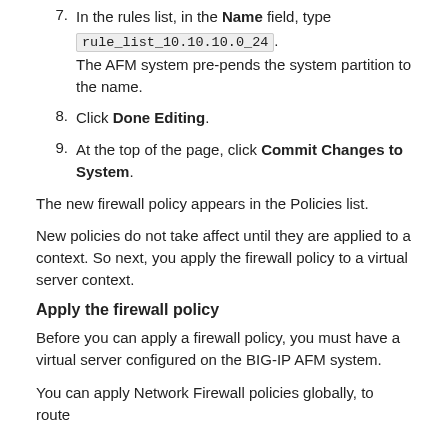7. In the rules list, in the Name field, type rule_list_10.10.10.0_24. The AFM system pre-pends the system partition to the name.
8. Click Done Editing.
9. At the top of the page, click Commit Changes to System.
The new firewall policy appears in the Policies list.
New policies do not take affect until they are applied to a context. So next, you apply the firewall policy to a virtual server context.
Apply the firewall policy
Before you can apply a firewall policy, you must have a virtual server configured on the BIG-IP AFM system.
You can apply Network Firewall policies globally, to route